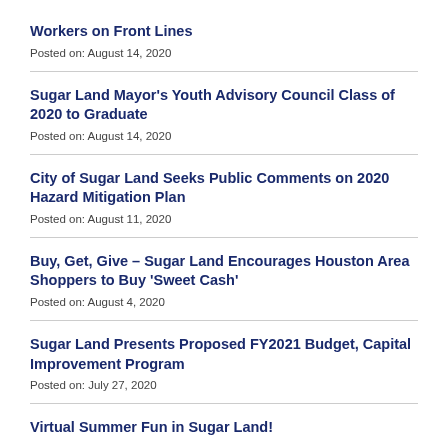Workers on Front Lines
Posted on: August 14, 2020
Sugar Land Mayor's Youth Advisory Council Class of 2020 to Graduate
Posted on: August 14, 2020
City of Sugar Land Seeks Public Comments on 2020 Hazard Mitigation Plan
Posted on: August 11, 2020
Buy, Get, Give – Sugar Land Encourages Houston Area Shoppers to Buy 'Sweet Cash'
Posted on: August 4, 2020
Sugar Land Presents Proposed FY2021 Budget, Capital Improvement Program
Posted on: July 27, 2020
Virtual Summer Fun in Sugar Land!